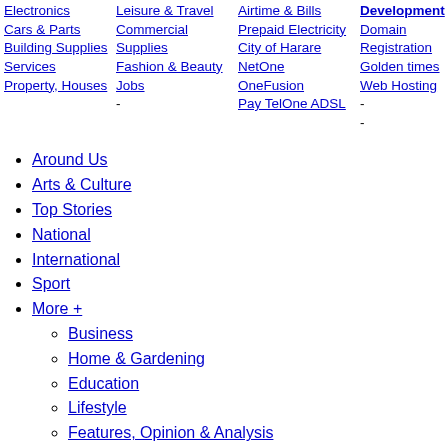Electronics
Cars & Parts
Building Supplies
Services
Property, Houses
Leisure & Travel
Commercial Supplies
Fashion & Beauty
Jobs
-
Airtime & Bills
Prepaid Electricity
City of Harare
NetOne
OneFusion
Pay TelOne ADSL
Development
Domain Registration
Golden times
Web Hosting
-
-
Around Us
Arts & Culture
Top Stories
National
International
Sport
More +
Business
Home & Gardening
Education
Lifestyle
Features, Opinion & Analysis
Crime & Courts
Africa